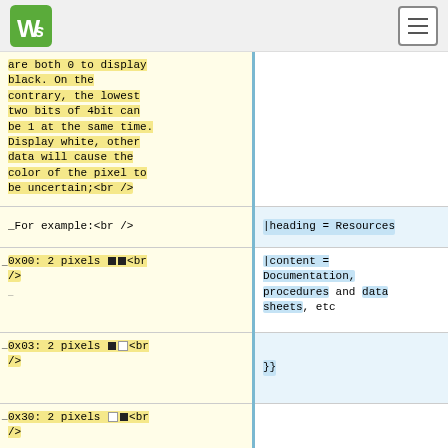Waveshare logo and navigation
are both 0 to display black. On the contrary, the lowest two bits of 4bit can be 1 at the same time. Display white, other data will cause the color of the pixel to be uncertain;<br />
_For example:<br />
|heading = Resources
0x00: 2 pixels ■■<br />
|content = Documentation, procedures and data sheets, etc
0x03: 2 pixels ■□<br />
}}
0x30: 2 pixels □■<br />